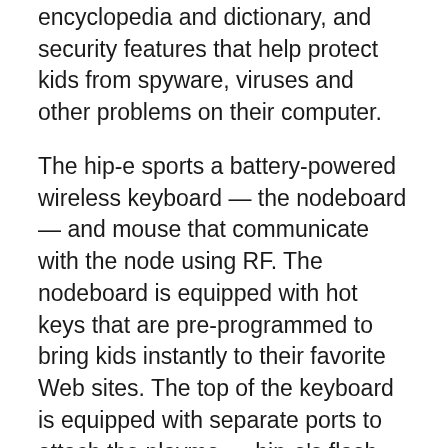encyclopedia and dictionary, and security features that help protect kids from spyware, viruses and other problems on their computer.
The hip-e sports a battery-powered wireless keyboard — the nodeboard — and mouse that communicate with the node using RF. The nodeboard is equipped with hot keys that are pre-programmed to bring kids instantly to their favorite Web sites. The top of the keyboard is equipped with separate ports to attach the playme — hip-e's flash-based MP3 player, which can optionally be worn as a pendant — and the reachme, a basic color screen-equipped cell phone that works on Sprint's PCS cellular network. The phone is available with prepaid calling plans and connects to the nodeboard for charging. Also included are 7-in-1 memory card slots for downloading photos from